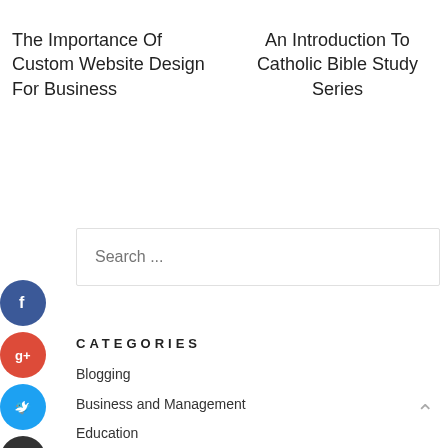The Importance Of Custom Website Design For Business
An Introduction To Catholic Bible Study Series
Search ...
CATEGORIES
Blogging
Business and Management
Education
Health and Fitness